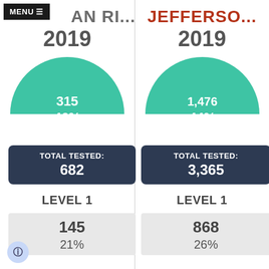MENU ≡
AN RI...
JEFFERSO...
2019
2019
[Figure (donut-chart): AN RI... 2019]
[Figure (donut-chart): JEFFERSO... 2019]
TOTAL TESTED:
682
TOTAL TESTED:
3,365
LEVEL 1
LEVEL 1
145
21%
868
26%